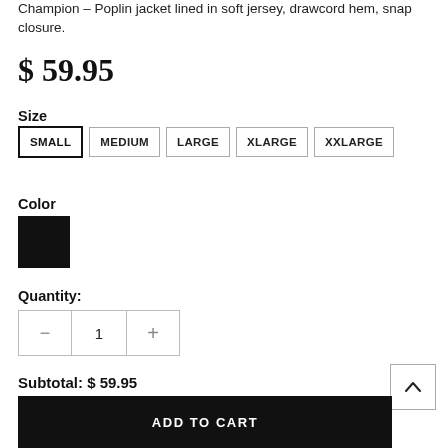Champion – Poplin jacket lined in soft jersey, drawcord hem, snap closure.
$ 59.95
Size
SMALL
MEDIUM
LARGE
XLARGE
XXLARGE
Color
[Figure (other): Black color swatch square]
Quantity:
Subtotal: $ 59.95
ADD TO CART